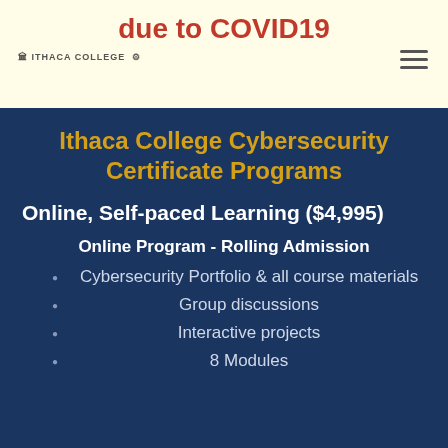due to COVID19
Ithaca College Cybersecurity Certificate Programs
Online, Self-paced Learning ($4,995)
Online Program - Rolling Admission
Cybersecurity Portfolio & all course materials
Group discussions
Interactive projects
8 Modules